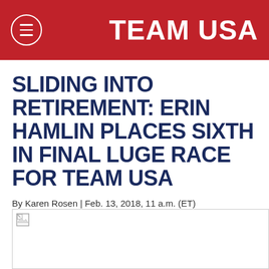TEAM USA
SLIDING INTO RETIREMENT: ERIN HAMLIN PLACES SIXTH IN FINAL LUGE RACE FOR TEAM USA
By Karen Rosen | Feb. 13, 2018, 11 a.m. (ET)
[Figure (photo): Image placeholder for article photo (broken image icon visible in top-left corner)]